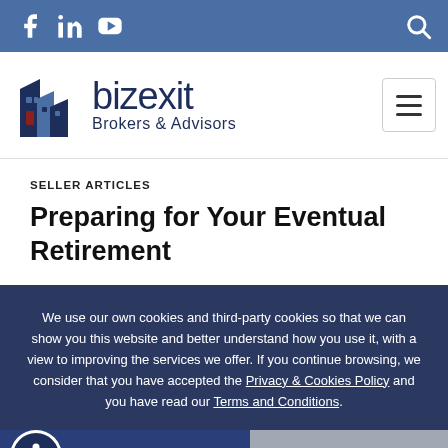Social icons: Facebook, LinkedIn, YouTube | Search icon
[Figure (logo): BizExit Brokers & Advisors logo with building icon and bizexit text]
SELLER ARTICLES
Preparing for Your Eventual Retirement
We use our own cookies and third-party cookies so that we can show you this website and better understand how you use it, with a view to improving the services we offer. If you continue browsing, we consider that you have accepted the Privacy & Cookies Policy and you have read our Terms and Conditions.